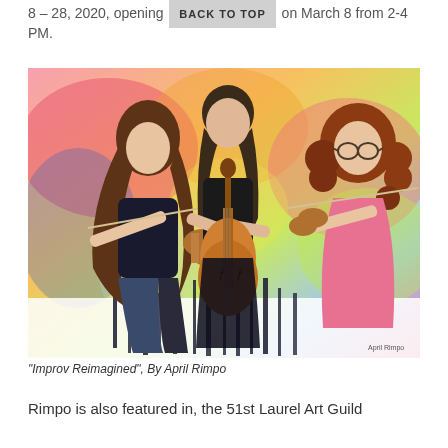8 – 28, 2020, opening BACK TO TOP on March 8 from 2-4 PM.
[Figure (illustration): Watercolor painting titled 'Improv Reimagined' by April Rimpo, showing three female musicians playing string instruments (two violins and a cello) against a colorful abstract background with dripping paint effects at the bottom.]
"Improv Reimagined", By April Rimpo
Rimpo is also featured in, the 51st Laurel Art Guild